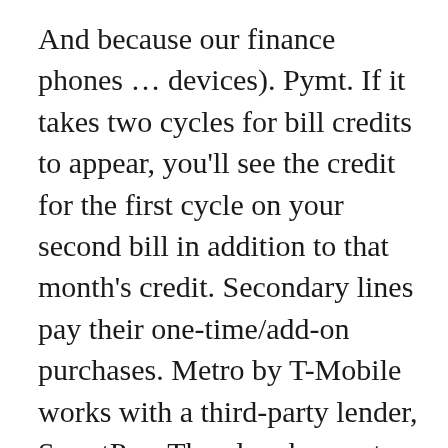And because our finance phones ... devices). Pymt. If it takes two cycles for bill credits to appear, you'll see the credit for the first cycle on your second bill in addition to that month's credit. Secondary lines pay their one-time/add-on purchases. Metro by T-Mobile works with a third-party lender, SmartPay. The plan does not require a credit check, and offers customers unlimited talk, unlimited text, ... Not all plans can be combined with other offers. extra. credit within 20 days of your next payment date. Rent to Own Payment Plans on New Apple Cell...